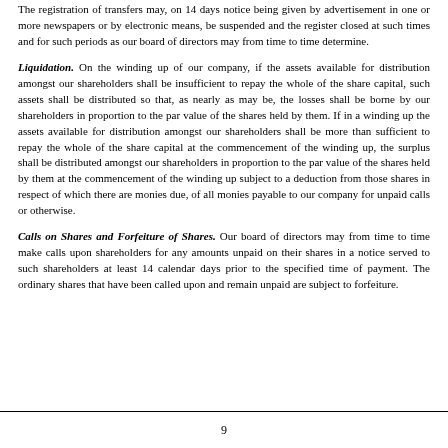The registration of transfers may, on 14 days notice being given by advertisement in one or more newspapers or by electronic means, be suspended and the register closed at such times and for such periods as our board of directors may from time to time determine.
Liquidation. On the winding up of our company, if the assets available for distribution amongst our shareholders shall be insufficient to repay the whole of the share capital, such assets shall be distributed so that, as nearly as may be, the losses shall be borne by our shareholders in proportion to the par value of the shares held by them. If in a winding up the assets available for distribution amongst our shareholders shall be more than sufficient to repay the whole of the share capital at the commencement of the winding up, the surplus shall be distributed amongst our shareholders in proportion to the par value of the shares held by them at the commencement of the winding up subject to a deduction from those shares in respect of which there are monies due, of all monies payable to our company for unpaid calls or otherwise.
Calls on Shares and Forfeiture of Shares. Our board of directors may from time to time make calls upon shareholders for any amounts unpaid on their shares in a notice served to such shareholders at least 14 calendar days prior to the specified time of payment. The ordinary shares that have been called upon and remain unpaid are subject to forfeiture.
9